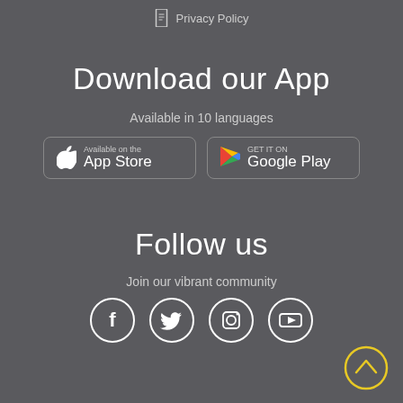Privacy Policy
Download our App
Available in 10 languages
[Figure (other): App Store and Google Play download buttons]
Follow us
Join our vibrant community
[Figure (other): Social media icons: Facebook, Twitter, Instagram, YouTube]
[Figure (other): Scroll to top button (yellow circle with chevron up)]